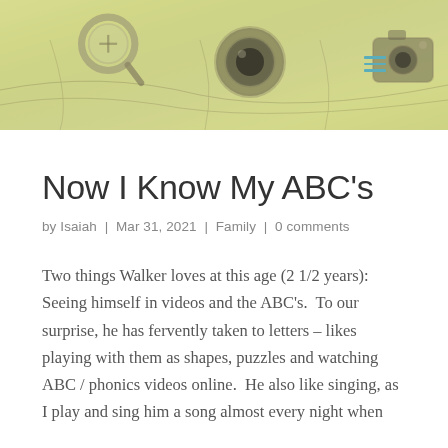[Figure (photo): Blog website header banner showing travel/exploration themed items — a magnifying glass over a map, camera lens, vintage camera, and photos — with a yellow-green tinted overlay filter. A teal hamburger menu icon appears in the upper right.]
Now I Know My ABC's
by Isaiah  |  Mar 31, 2021  |  Family  |  0 comments
Two things Walker loves at this age (2 1/2 years): Seeing himself in videos and the ABC's.  To our surprise, he has fervently taken to letters – likes playing with them as shapes, puzzles and watching ABC / phonics videos online.  He also like singing, as I play and sing him a song almost every night when